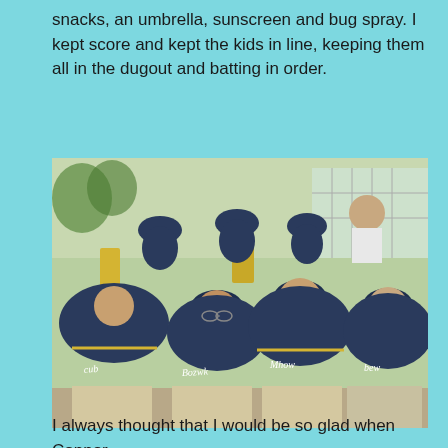snacks, an umbrella, sunscreen and bug spray. I kept score and kept the kids in line, keeping them all in the dugout and batting in order.
[Figure (photo): A group of youth baseball players in navy blue and gold uniforms and caps sitting in a dugout, watching the game attentively. A woman in a white shirt is visible in the background.]
I always thought that I would be so glad when Connor